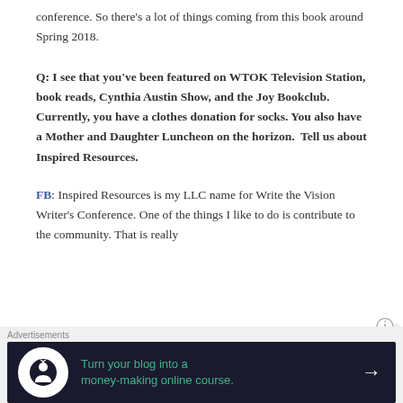conference. So there's a lot of things coming from this book around Spring 2018.
Q: I see that you've been featured on WTOK Television Station, book reads, Cynthia Austin Show, and the Joy Bookclub. Currently, you have a clothes donation for socks. You also have a Mother and Daughter Luncheon on the horizon.  Tell us about Inspired Resources.
FB: Inspired Resources is my LLC name for Write the Vision Writer's Conference. One of the things I like to do is contribute to the community. That is really
Advertisements
[Figure (other): Advertisement banner: dark navy background with tree/person icon in white circle, teal text reading 'Turn your blog into a money-making online course.' with white arrow on right.]